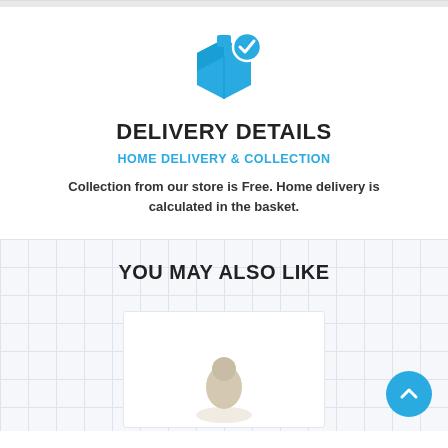[Figure (illustration): Blue delivery box icon with a blue checkmark circle badge in the top-right corner]
DELIVERY DETAILS
HOME DELIVERY & COLLECTION
Collection from our store is Free. Home delivery is calculated in the basket.
YOU MAY ALSO LIKE
[Figure (photo): Product photo partially visible at the bottom of the page]
[Figure (illustration): Blue circular scroll-to-top button with an upward chevron arrow]